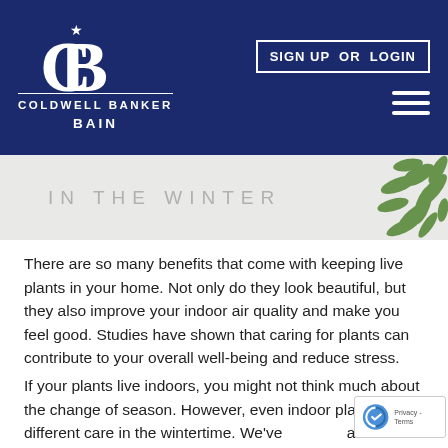COLDWELL BANKER BAIN — SIGN UP OR LOGIN
[Figure (photo): Banner image with text 'IN THE WINTER' in light gray letters on a light background, with a green plant branch/wreath on the right side]
There are so many benefits that come with keeping live plants in your home. Not only do they look beautiful, but they also improve your indoor air quality and make you feel good. Studies have shown that caring for plants can contribute to your overall well-being and reduce stress.
If your plants live indoors, you might not think much about the change of season. However, even indoor plants need different care in the wintertime. We've asked a few of our brokers with green thumbs for their recommendations. Follow these tips, and you'll have happy plants all season long!